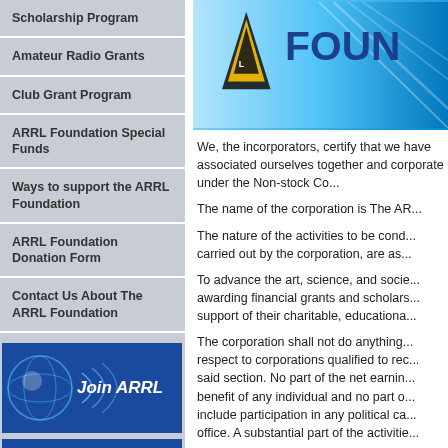Scholarship Program
Amateur Radio Grants
Club Grant Program
ARRL Foundation Special Funds
Ways to support the ARRL Foundation
ARRL Foundation Donation Form
Contact Us About The ARRL Foundation
[Figure (illustration): Join ARRL banner with globe and radio waves on blue background]
[Figure (illustration): Donate Now - Help Support ARRL banner on blue background with radio tower]
[Figure (illustration): ARRL Foundation logo banner with triangle logo and FOUN... text on blue background]
We, the incorporators, certify that we have associated ourselves together and corporate under the Non-stock Co...
The name of the corporation is The AR...
The nature of the activities to be cond... carried out by the corporation, are as...
To advance the art, science, and socie... awarding financial grants and scholars... support of their charitable, educationa...
The corporation shall not do anything... respect to corporations qualified to rec... said section. No part of the net earnin... benefit of any individual and no part o... include participation in any political ca... office. A substantial part of the activitie...